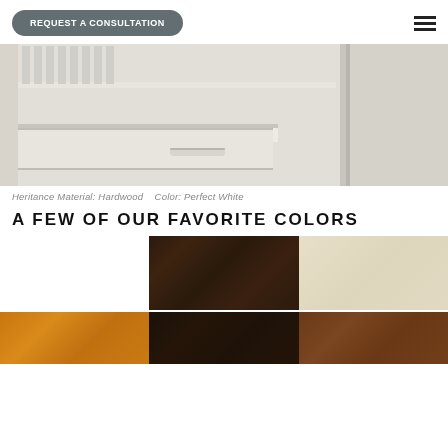REQUEST A CONSULTATION
[Figure (photo): Close-up of white hardwood cabinet shelving and drawers, showing clean white finish.]
Heritance Material: Hardwood   Color: Perfect White
A FEW OF OUR FAVORITE COLORS
[Figure (photo): Color swatches grid showing six wood/finish color samples: blank white, dark walnut, cream, amber/honey, espresso, and warm brown.]